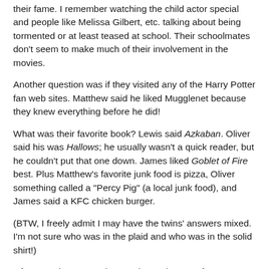their fame. I remember watching the child actor special and people like Melissa Gilbert, etc. talking about being tormented or at least teased at school. Their schoolmates don't seem to make much of their involvement in the movies.
Another question was if they visited any of the Harry Potter fan web sites. Matthew said he liked Mugglenet because they knew everything before he did!
What was their favorite book? Lewis said Azkaban. Oliver said his was Hallows; he usually wasn't a quick reader, but he couldn't put that one down. James liked Goblet of Fire best. Plus Matthew's favorite junk food is pizza, Oliver something called a "Percy Pig" (a local junk food), and James said a KFC chicken burger.
(BTW, I freely admit I may have the twins' answers mixed. I'm not sure who was in the plaid and who was in the solid shirt!)
Of course there were the usual complement of embarrassing questions. There was a uniform guffaw and red faces at one